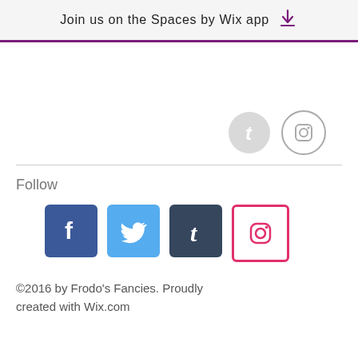Join us on the Spaces by Wix app
[Figure (illustration): Tumblr and Instagram social icons (greyed out circles) aligned to right side]
Follow
[Figure (illustration): Four social media buttons: Facebook (blue), Twitter (light blue), Tumblr (dark navy), Instagram (pink outline)]
©2016 by Frodo's Fancies. Proudly created with Wix.com